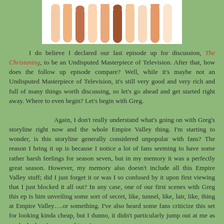[Figure (photo): A row of raised arms/hands of various skin tones against a white background, cropped to show only the arms from roughly mid-forearm upward with hands raised.]
I do believe I declared our last episode up for discussion, The Christening, to be an Undisputed Masterpiece of Television. After that, how does the follow up episode compare? Well, while it's maybe not an Undisputed Masterpiece of Television, it's still very good and very rich and full of many things worth discussing, so let's go ahead and get started right away. Where to even begin? Let's begin with Greg.

Again, I don't really understand what's going on with Greg's storyline right now and the whole Empire Valley thing. I'm starting to wonder, is this storyline generally considered unpopular with fans? The reason I bring it up is because I notice a lot of fans seeming to have some rather harsh feelings for season seven, but in my memory it was a perfectly great season. However, my memory also doesn't include all this Empire Valley stuff; did I just forget it or was I so confused by it upon first viewing that I just blocked it all out? In any case, one of our first scenes with Greg this ep is him unveiling some sort of secret, like, tunnel, like, lair, like, thing at Empire Valley….or something. I've also heard some fans criticize this set for looking kinda cheap, but I dunno, it didn't particularly jump out at me as too bad when I was watching. In